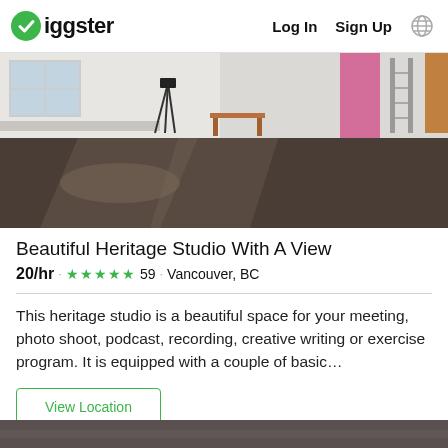Giggster  Log In  Sign Up
[Figure (photo): Interior of a heritage studio with dark hardwood floors, white walls, natural light from windows, pink curtain, camera tripod, and a ladder visible in the background.]
Beautiful Heritage Studio With A View
$20/hr · ★★★★★ 59 · Vancouver, BC
This heritage studio is a beautiful space for your meeting, photo shoot, podcast, recording, creative writing or exercise program. It is equipped with a couple of basic…
View Location